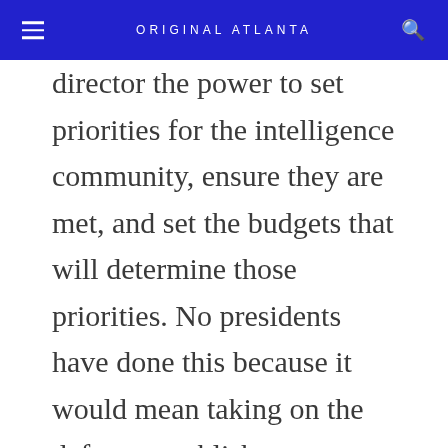ORIGINAL ATLANTA
director the power to set priorities for the intelligence community, ensure they are met, and set the budgets that will determine those priorities. No presidents have done this because it would mean taking on the defense establishment, which, through its myriad military and military-related intelligence offices, controls the lion's share of the reported $40 billion-plus annual foreign intelligence budget.